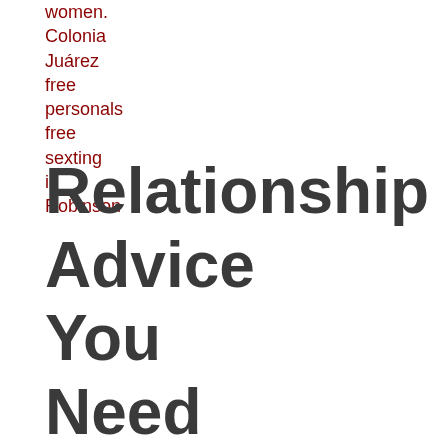women. Colonia Juárez free personals free sexting in Robinson
Relationship Advice You Need To Hear